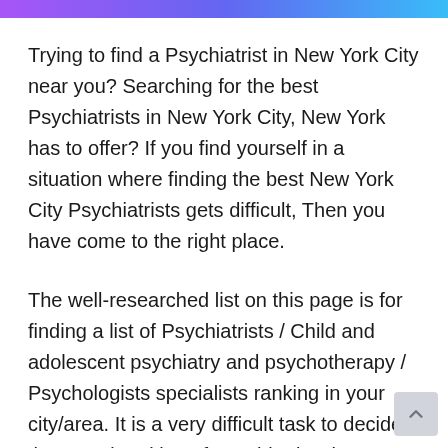Trying to find a Psychiatrist in New York City near you? Searching for the best Psychiatrists in New York City, New York has to offer? If you find yourself in a situation where finding the best New York City Psychiatrists gets difficult, Then you have come to the right place.
The well-researched list on this page is for finding a list of Psychiatrists / Child and adolescent psychiatry and psychotherapy / Psychologists specialists ranking in your city/area. It is a very difficult task to decide the actual ranking of Psychiatrists but yes we can say our team tried to make some trends so that